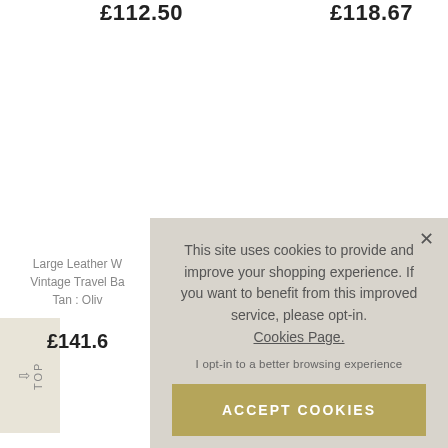£112.50
£118.67
Large Leather W... Vintage Travel Ba... Tan : Oliv...
£141.6...
This site uses cookies to provide and improve your shopping experience. If you want to benefit from this improved service, please opt-in. Cookies Page.
I opt-in to a better browsing experience
ACCEPT COOKIES